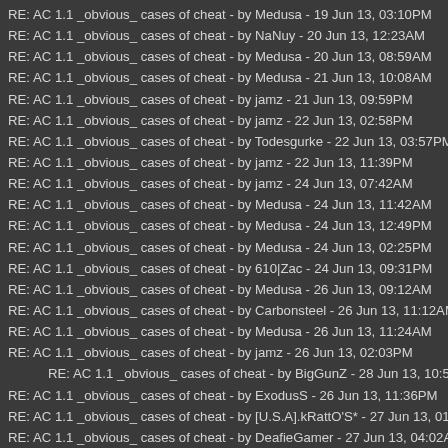RE: AC 1.1 _obvious_ cases of cheat - by Medusa - 19 Jun 13, 03:10PM
RE: AC 1.1 _obvious_ cases of cheat - by NaNuy - 20 Jun 13, 12:23AM
RE: AC 1.1 _obvious_ cases of cheat - by Medusa - 20 Jun 13, 08:59AM
RE: AC 1.1 _obvious_ cases of cheat - by Medusa - 21 Jun 13, 10:08AM
RE: AC 1.1 _obvious_ cases of cheat - by jamz - 21 Jun 13, 09:59PM
RE: AC 1.1 _obvious_ cases of cheat - by jamz - 22 Jun 13, 02:58PM
RE: AC 1.1 _obvious_ cases of cheat - by Todesgurke - 22 Jun 13, 03:57PM
RE: AC 1.1 _obvious_ cases of cheat - by jamz - 22 Jun 13, 11:39PM
RE: AC 1.1 _obvious_ cases of cheat - by jamz - 24 Jun 13, 07:42AM
RE: AC 1.1 _obvious_ cases of cheat - by Medusa - 24 Jun 13, 11:42AM
RE: AC 1.1 _obvious_ cases of cheat - by Medusa - 24 Jun 13, 12:49PM
RE: AC 1.1 _obvious_ cases of cheat - by Medusa - 24 Jun 13, 02:25PM
RE: AC 1.1 _obvious_ cases of cheat - by 610|Zac - 24 Jun 13, 09:31PM
RE: AC 1.1 _obvious_ cases of cheat - by Medusa - 26 Jun 13, 09:12AM
RE: AC 1.1 _obvious_ cases of cheat - by Carbonsteel - 26 Jun 13, 11:12AM
RE: AC 1.1 _obvious_ cases of cheat - by Medusa - 26 Jun 13, 11:24AM
RE: AC 1.1 _obvious_ cases of cheat - by jamz - 26 Jun 13, 02:03PM
RE: AC 1.1 _obvious_ cases of cheat - by BigGunZ - 28 Jun 13, 10:51AM
RE: AC 1.1 _obvious_ cases of cheat - by ExodusS - 26 Jun 13, 11:36PM
RE: AC 1.1 _obvious_ cases of cheat - by [U.S.A].kRattO'S* - 27 Jun 13, 01:55
RE: AC 1.1 _obvious_ cases of cheat - by DeafieGamer - 27 Jun 13, 04:02AM
RE: AC 1.1 _obvious_ cases of cheat - by DeafieGamer - 27 Jun 13, 12:19PM
RE: AC 1.1 _obvious_ cases of cheat - by jamz - 27 Jun 13, 12:29PM
RE: AC 1.1 _obvious_ cases of cheat - by jamz - 28 Jun 13, 10:53PM
RE: AC 1.1 _obvious_ cases of cheat - by ...